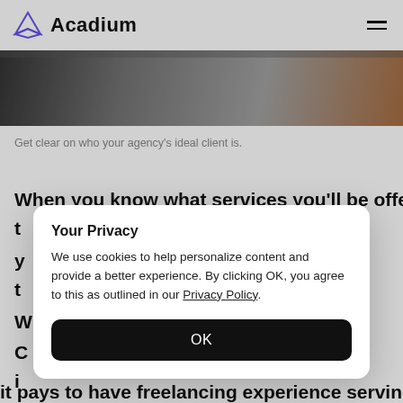Acadium
[Figure (photo): Partial hero image of a dark surface, likely a desk or table, with a reddish/wooden element at the right edge]
Get clear on who your agency's ideal client is.
When you know what services you'll be offering t y t W C i
it pays to have freelancing experience serving
Your Privacy
We use cookies to help personalize content and provide a better experience. By clicking OK, you agree to this as outlined in our Privacy Policy.
OK